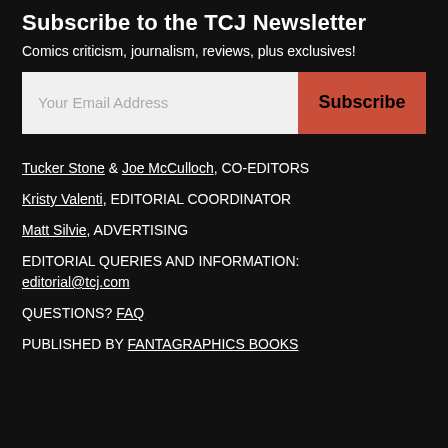Subscribe to the TCJ Newsletter
Comics criticism, journalism, reviews, plus exclusives!
[Figure (other): Email subscription form with text input placeholder 'Your Email Address' and a red 'Subscribe' button]
Tucker Stone & Joe McCulloch, CO-EDITORS
Kristy Valenti, EDITORIAL COORDINATOR
Matt Silvie, ADVERTISING
EDITORIAL QUERIES AND INFORMATION: editorial@tcj.com
QUESTIONS? FAQ
PUBLISHED BY FANTAGRAPHICS BOOKS